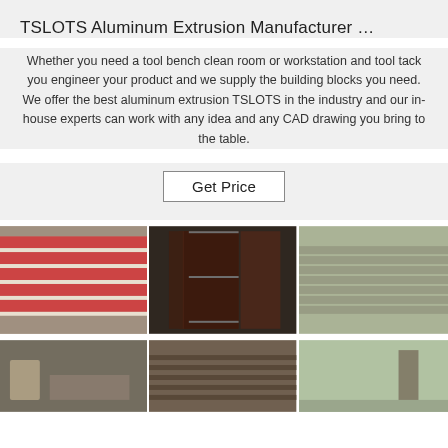TSLOTS Aluminum Extrusion Manufacturer …
Whether you need a tool bench clean room or workstation and tool tack you engineer your product and we supply the building blocks you need. We offer the best aluminum extrusion TSLOTS in the industry and our in-house experts can work with any idea and any CAD drawing you bring to the table.
Get Price
[Figure (photo): Three photos side by side showing aluminum extrusion products stacked in a warehouse facility. Left: red-topped aluminum panels stacked in rows. Center: bundled dark aluminum profiles wrapped in packaging. Right: rows of aluminum extrusions stacked in a large warehouse.]
[Figure (photo): Three photos side by side showing more aluminum extrusion facility images. Left: forklift in a warehouse. Center: close-up of aluminum extrusion surface texture. Right: large warehouse interior with worker.]